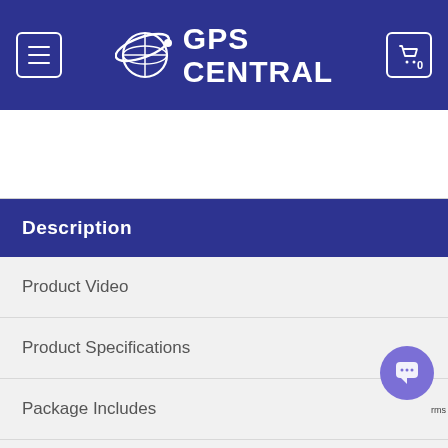GPS CENTRAL
Description
Product Video
Product Specifications
Package Includes
Product Guides & Documentation
Important Tips